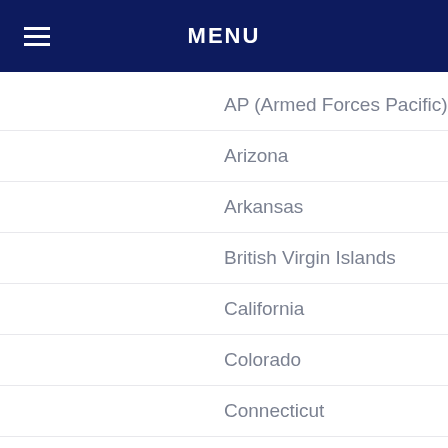MENU
AP (Armed Forces Pacific)
Arizona
Arkansas
British Virgin Islands
California
Colorado
Connecticut
Delaware
District of Columbia
Florida
Georgia